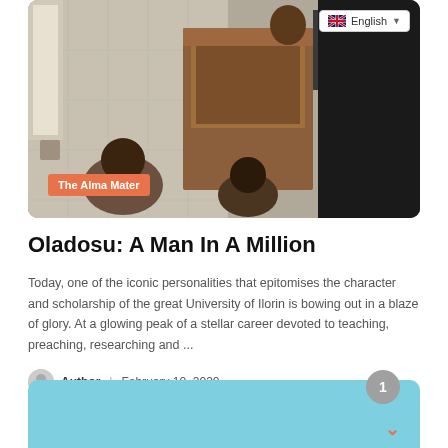[Figure (photo): A person standing at a wooden podium/lectern in what appears to be an indoor setting with tiled walls. There are seated figures in the foreground. An 'English' language selector button appears in the top right corner of the image overlay.]
The Alma Mater
Oladosu: A Man In A Million
Today, one of the iconic personalities that epitomises the character and scholarship of the great University of Ilorin is bowing out in a blaze of glory. At a glowing peak of a stellar career devoted to teaching, preaching, researching and ...
Author | February 10, 2020
[Figure (other): A light blue rectangular card partially visible at the bottom of the page, with a circular grey button showing '1' at the top right and a downward orange arrow at bottom right.]